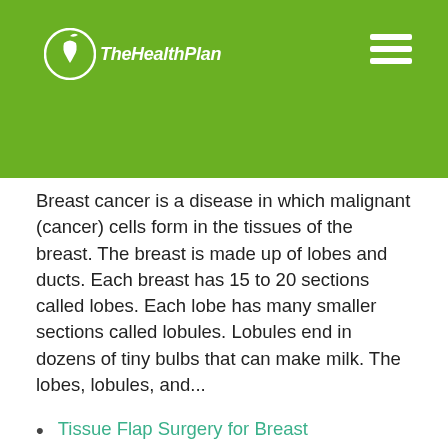The Health Plan
Breast cancer is a disease in which malignant (cancer) cells form in the tissues of the breast. The breast is made up of lobes and ducts. Each breast has 15 to 20 sections called lobes. Each lobe has many smaller sections called lobules. Lobules end in dozens of tiny bulbs that can make milk. The lobes, lobules, and...
Tissue Flap Surgery for Breast Reconstruction
Discusses breast reconstruction surgery done after mastectomy. Covers two ways of doing the surgery: pedicle flap and free flap. Looks at types of flap surgery: TRAM, latissimus dorsi,